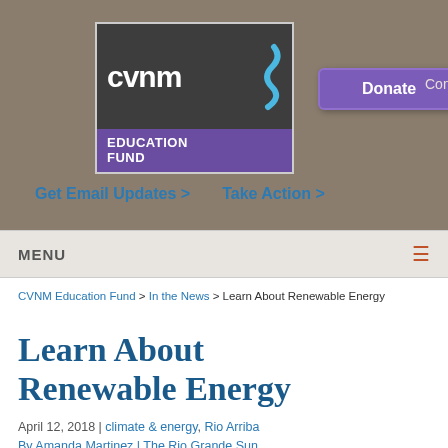[Figure (logo): CVNM Education Fund logo with snake graphic, dark grey top and purple bottom]
Donate  Contact Us
Get Email Updates >  Take Action >
MENU
CVNM Education Fund > In the News > Learn About Renewable Energy
Learn About Renewable Energy
April 12, 2018 | climate & energy, Rio Arriba
By Amanda Martinez | The Rio Grande Sun
The Second Annual Renewable Energy Festival